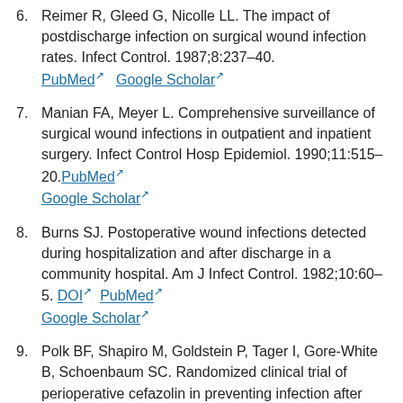6. Reimer R, Gleed G, Nicolle LL. The impact of postdischarge infection on surgical wound infection rates. Infect Control. 1987;8:237–40. PubMed  Google Scholar
7. Manian FA, Meyer L. Comprehensive surveillance of surgical wound infections in outpatient and inpatient surgery. Infect Control Hosp Epidemiol. 1990;11:515–20. PubMed  Google Scholar
8. Burns SJ. Postoperative wound infections detected during hospitalization and after discharge in a community hospital. Am J Infect Control. 1982;10:60–5. DOI  PubMed  Google Scholar
9. Polk BF, Shapiro M, Goldstein P, Tager I, Gore-White B, Schoenbaum SC. Randomized clinical trial of perioperative cefazolin in preventing infection after hysterectomy and bowel surgery.